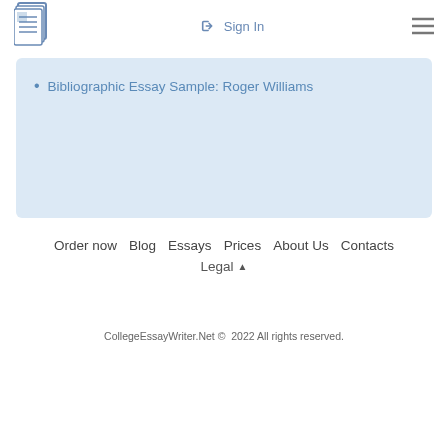Sign In
Bibliographic Essay Sample: Roger Williams
Order now  Blog  Essays  Prices  About Us  Contacts
Legal ▲
CollegeEssayWriter.Net ©  2022 All rights reserved.